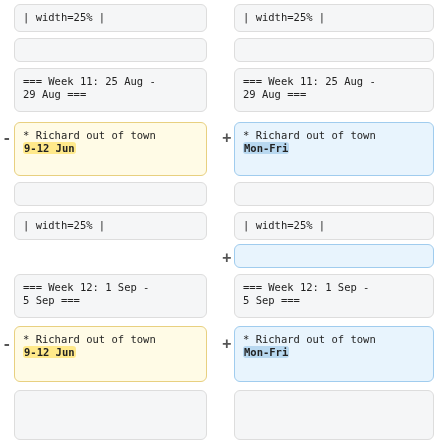| width=25% |
| width=25% |
(empty box)
(empty box)
=== Week 11: 25 Aug - 29 Aug ===
=== Week 11: 25 Aug - 29 Aug ===
* Richard out of town 9-12 Jun (removed)
* Richard out of town Mon-Fri (added)
(empty box)
(empty box)
| width=25% |
| width=25% |
(empty blue box added)
=== Week 12: 1 Sep - 5 Sep ===
=== Week 12: 1 Sep - 5 Sep ===
* Richard out of town 9-12 Jun (removed)
* Richard out of town Mon-Fri (added)
(empty box)
(empty box)